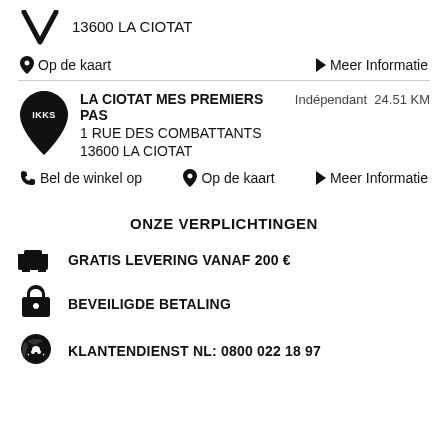13600 LA CIOTAT
Op de kaart
Meer Informatie
LA CIOTAT MES PREMIERS PAS
1 RUE DES COMBATTANTS
13600 LA CIOTAT
Indépendant  24.51 KM
Bel de winkel op
Op de kaart
Meer Informatie
ONZE VERPLICHTINGEN
GRATIS LEVERING VANAF 200 €
BEVEILIGDE BETALING
KLANTENDIENST NL: 0800 022 18 97